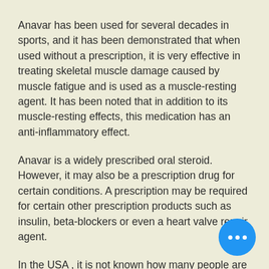Anavar has been used for several decades in sports, and it has been demonstrated that when used without a prescription, it is very effective in treating skeletal muscle damage caused by muscle fatigue and is used as a muscle-resting agent. It has been noted that in addition to its muscle-resting effects, this medication has an anti-inflammatory effect.
Anavar is a widely prescribed oral steroid. However, it may also be a prescription drug for certain conditions. A prescription may be required for certain other prescription products such as insulin, beta-blockers or even a heart valve repair agent.
In the USA , it is not known how many people are using anavar. But in the last years in USA , Anavar has been prescribed to about 5 million people, with more than 300